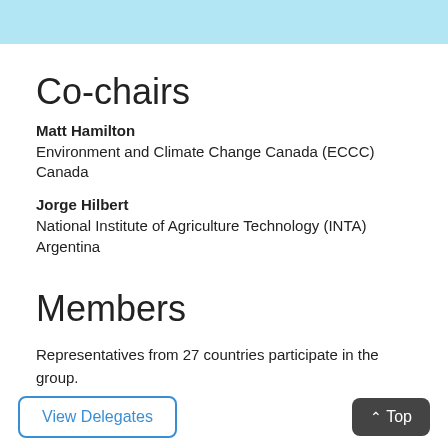Co-chairs
Matt Hamilton
Environment and Climate Change Canada (ECCC)
Canada
Jorge Hilbert
National Institute of Agriculture Technology (INTA)
Argentina
Members
Representatives from 27 countries participate in the group.
View Delegates
Top